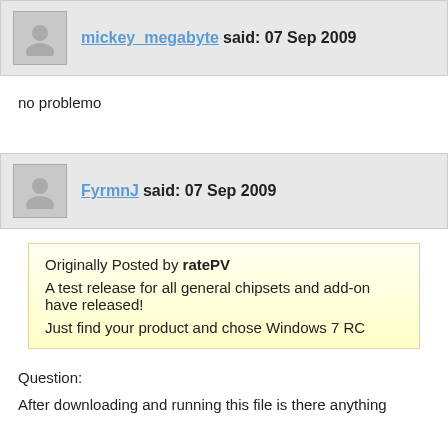mickey_megabyte said: 07 Sep 2009
no problemo
FyrmnJ said: 07 Sep 2009
Originally Posted by ratePV
A test release for all general chipsets and add-on have released!
Just find your product and chose Windows 7 RC
Question:
After downloading and running this file is there anything